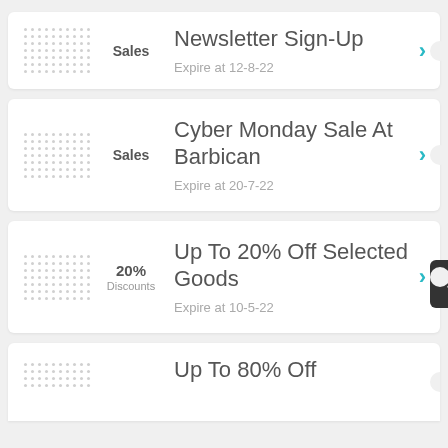Sales | Newsletter Sign-Up | Expire at 12-8-22
Sales | Cyber Monday Sale At Barbican | Expire at 20-7-22
20% Discounts | Up To 20% Off Selected Goods | Expire at 10-5-22
Up To 80% Off (partial)